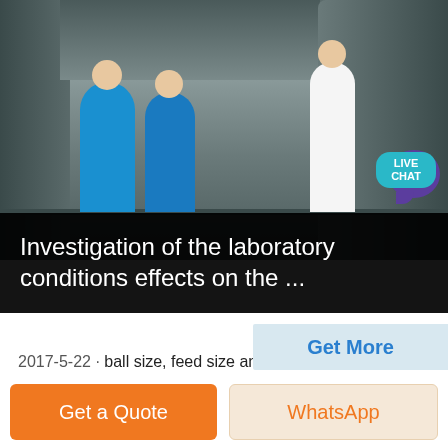[Figure (photo): Workers inspecting industrial ball mill machinery in a factory setting. Three workers are visible, one in a teal shirt, one in a blue shirt, and one in a white shirt, examining large industrial equipment.]
Investigation of the laboratory conditions effects on the ...
2017-5-22 · ball size, feed size and mill dimensions on the scale-up process of ball mills and the simulation of the particle size distribution of industrial ball mills. To assess the anticipated target, two laboratory mills with different compositions of ball loads and an industrial grinding circuit including a primary and a secondary ball mills were used.
Get More
Get a Quote
WhatsApp